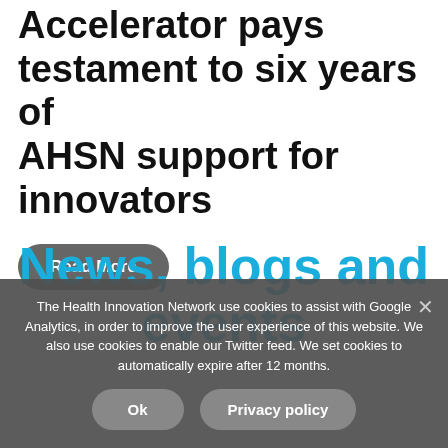Accelerator pays testament to six years of AHSN support for innovators
Read More
News, blogs and events
The Health Innovation Network use cookies to assist with Google Analytics, in order to improve the user experience of this website. We also use cookies to enable our Twitter feed. We set cookies to automatically expire after 12 months.
Ok
Privacy policy